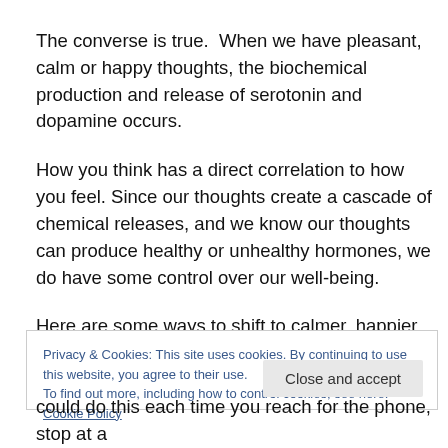The converse is true.  When we have pleasant, calm or happy thoughts, the biochemical production and release of serotonin and dopamine occurs.
How you think has a direct correlation to how you feel. Since our thoughts create a cascade of chemical releases, and we know our thoughts can produce healthy or unhealthy hormones, we do have some control over our well-being.
Here are some ways to shift to calmer, happier thinking:
Privacy & Cookies: This site uses cookies. By continuing to use this website, you agree to their use.
To find out more, including how to control cookies, see here: Cookie Policy
could do this each time you reach for the phone, stop at a